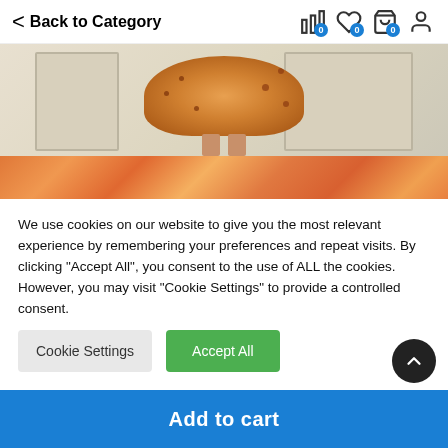< Back to Category
[Figure (photo): Product photo showing a floral orange dress/skirt hemline with legs visible, standing in front of a white door. Bottom strip shows orange floral fabric.]
We use cookies on our website to give you the most relevant experience by remembering your preferences and repeat visits. By clicking "Accept All", you consent to the use of ALL the cookies. However, you may visit "Cookie Settings" to provide a controlled consent.
Cookie Settings   Accept All
Add to cart